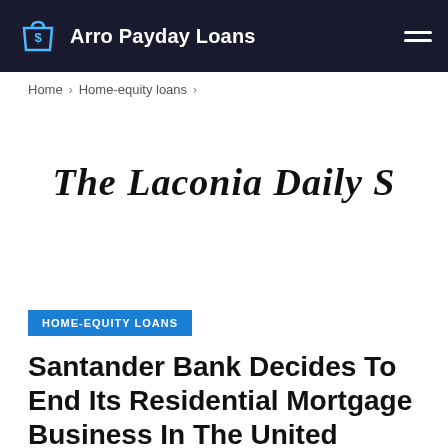Arro Payday Loans
Home > Home-equity loans >
[Figure (logo): The Laconia Daily Sun newspaper masthead logo in blackletter/Old English style font]
HOME-EQUITY LOANS
Santander Bank Decides To End Its Residential Mortgage Business In The United States | State